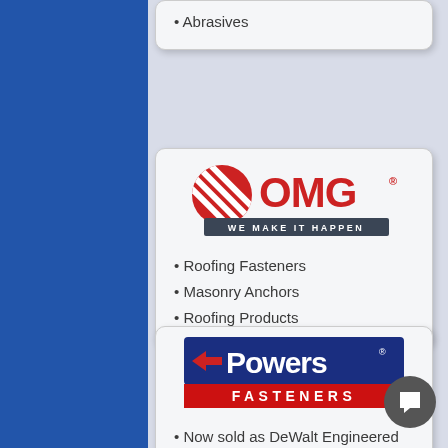Abrasives
[Figure (logo): OMG logo with red circle and diagonal lines, text 'WE MAKE IT HAPPEN' below]
Roofing Fasteners
Masonry Anchors
Roofing Products
[Figure (logo): Powers Fasteners logo with blue and red banner]
Now sold as DeWalt Engineered by Powers